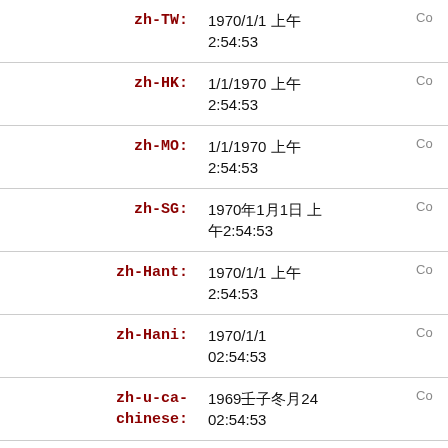| Key | Value |  |
| --- | --- | --- |
| zh-TW: | 1970/1/1 上午02:54:53 | Co |
| zh-HK: | 1/1/1970 上午02:54:53 | Co |
| zh-MO: | 1/1/1970 上午02:54:53 | Co |
| zh-SG: | 1970年1月1日 上午02:54:53 | Co |
| zh-Hant: | 1970/1/1 上午02:54:53 | Co |
| zh-Hani: | 1970/1/1
02:54:53 | Co |
| zh-u-ca-chinese: | 1969壬子年冬月24
02:54:53 | Co |
| zh-TW-u- | 民國59/1/1 上午
2:54:5三 | Co |